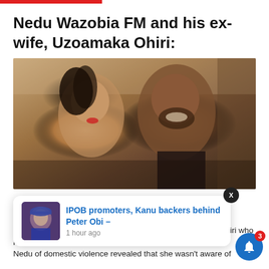Nedu Wazobia FM and his ex-wife, Uzoamaka Ohiri:
[Figure (photo): Photo of a man and woman (Nedu Wazobia FM and Uzoamaka Ohiri) posing together in a selfie, smiling at the camera]
[Figure (screenshot): News popup overlay reading 'IPOB promoters, Kanu backers behind Peter Obi – 1 hour ago' with a small thumbnail image of a man in a blue outfit]
better known as hiri, fondly called Ohiri, were not left out. Ohiri who had earlier accused Nedu of domestic violence revealed that she wasn't aware of